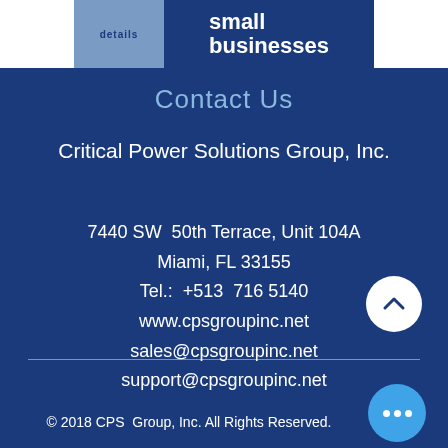[Figure (logo): Top banner with 'details' text on left blue block and 'small businesses' text on dark blue right block]
Contact Us
Critical Power Solutions Group, Inc.
7440 SW 50th Terrace, Unit 104A
Miami, FL 33155
Tel.: +513 716 5140
www.cpsgroupinc.net
sales@cpsgroupinc.net
support@cpsgroupinc.net
© 2018 CPS Group, Inc. All Rights Reserved.